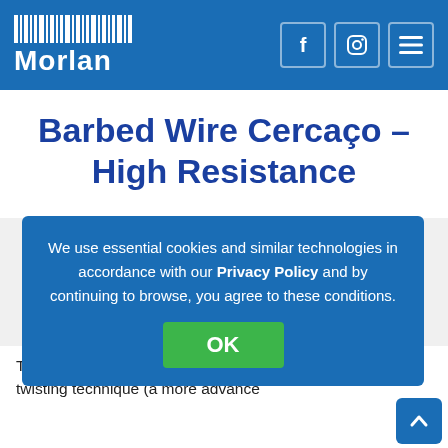Morlan
Barbed Wire Cercaço – High Resistance
[Figure (photo): A coil/spool of barbed wire (Cercaço high resistance), shown from the front with a handle bracket on top, against a light grey background.]
We use essential cookies and similar technologies in accordance with our Privacy Policy and by continuing to browse, you agree to these conditions.
The C[ercaço barbed wire is manufactur]ed with alternating twisting technique (a more advance...